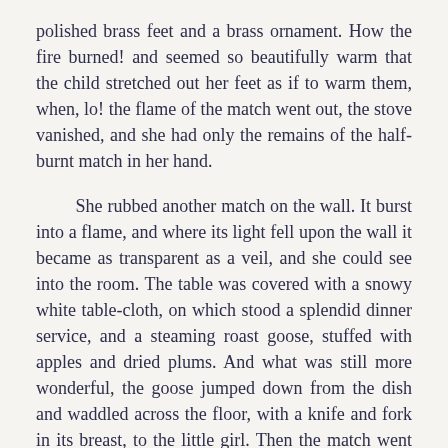polished brass feet and a brass ornament. How the fire burned! and seemed so beautifully warm that the child stretched out her feet as if to warm them, when, lo! the flame of the match went out, the stove vanished, and she had only the remains of the half-burnt match in her hand.
She rubbed another match on the wall. It burst into a flame, and where its light fell upon the wall it became as transparent as a veil, and she could see into the room. The table was covered with a snowy white table-cloth, on which stood a splendid dinner service, and a steaming roast goose, stuffed with apples and dried plums. And what was still more wonderful, the goose jumped down from the dish and waddled across the floor, with a knife and fork in its breast, to the little girl. Then the match went out, and there remained nothing but the thick, damp, cold wall before her.